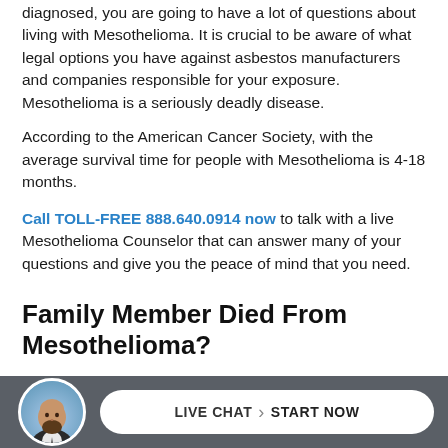diagnosed, you are going to have a lot of questions about living with Mesothelioma. It is crucial to be aware of what legal options you have against asbestos manufacturers and companies responsible for your exposure. Mesothelioma is a seriously deadly disease.
According to the American Cancer Society, with the average survival time for people with Mesothelioma is 4-18 months.
Call TOLL-FREE 888.640.0914 now to talk with a live Mesothelioma Counselor that can answer many of your questions and give you the peace of mind that you need.
Family Member Died From Mesothelioma?
If you have a family member that has died from Mesothelioma cancer, immediately consult with an experienced Mesothelioma lawyer about your available compensation from asbestos trust funds.
[Figure (photo): Headshot of a bald man with beard wearing a suit, circular avatar in the footer bar]
LIVE CHAT > START NOW